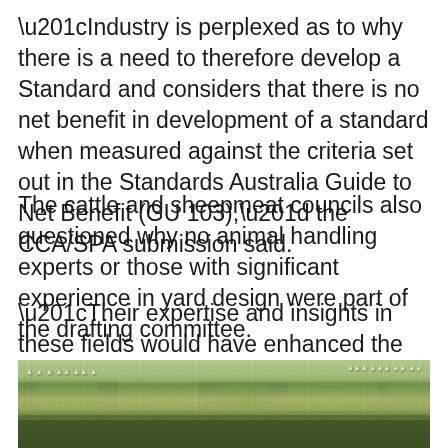“Industry is perplexed as to why there is a need to therefore develop a Standard and considers that there is no net benefit in development of a standard when measured against the criteria set out in the Standards Australia Guide to Net Benefit (GU 103),” the CCA/SPA submission said.
The cattle and sheepmeat councils also questioned why no animal handling experts or those with significant experience in yard design were part of the drafting committee.
“Their expertise and insights in these fields would have enhanced the draft and likely increased acceptance by industry.”They also sought clarity on the implications for using products built outside Australia.
[Figure (photo): Aerial or wide-angle photograph of green agricultural fields/paddocks, likely Australian rural landscape.]